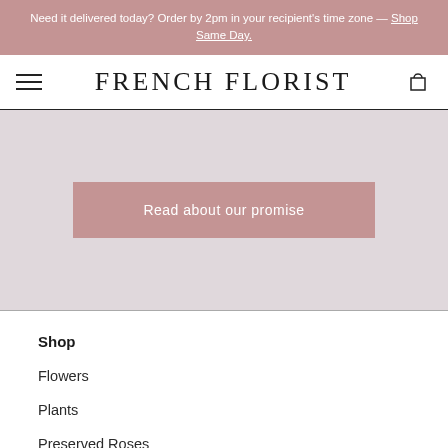Need it delivered today? Order by 2pm in your recipient's time zone — Shop Same Day.
FRENCH FLORIST
[Figure (other): Pink mauve hero banner with a button that reads 'Read about our promise']
Shop
Flowers
Plants
Preserved Roses